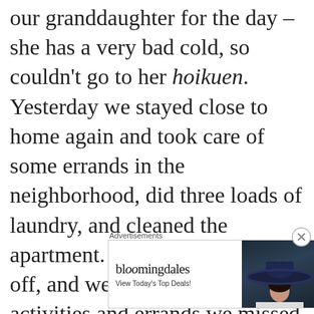our granddaughter for the day – she has a very bad cold, so couldn't go to her hoikuen. Yesterday we stayed close to home again and took care of some errands in the neighborhood, did three loads of laundry, and cleaned the apartment. It was a nice week off, and we're hoping to do the activities and errands we missed this coming week but we may need to watch our granddaughter another couple of days so will work
[Figure (other): Bloomingdale's advertisement banner with logo, tagline 'View Today's Top Deals!', an image of a woman wearing a large navy hat, and a 'SHOP NOW >' button]